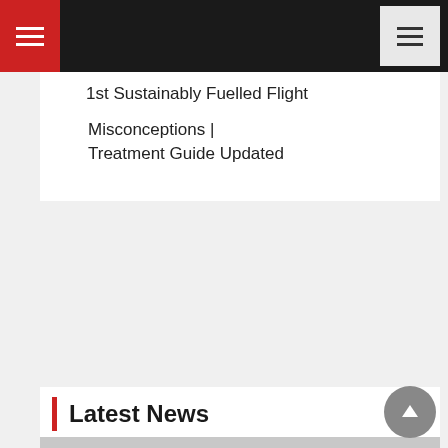Navigation header with hamburger menus
1st Sustainably Fuelled Flight
Eczema Symptoms & Contagion Misconceptions | Treatment Guide Updated
Latest News
[Figure (photo): Gray placeholder image for a news article photo]